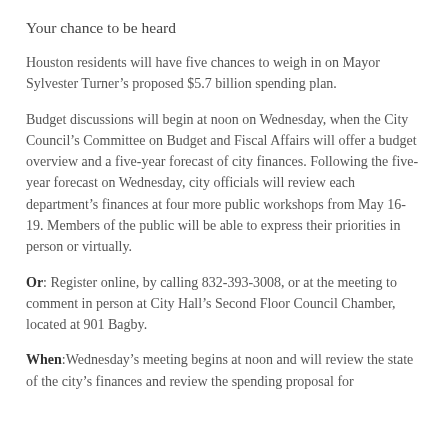Your chance to be heard
Houston residents will have five chances to weigh in on Mayor Sylvester Turner’s proposed $5.7 billion spending plan.
Budget discussions will begin at noon on Wednesday, when the City Council’s Committee on Budget and Fiscal Affairs will offer a budget overview and a five-year forecast of city finances. Following the five-year forecast on Wednesday, city officials will review each department’s finances at four more public workshops from May 16-19. Members of the public will be able to express their priorities in person or virtually.
Or: Register online, by calling 832-393-3008, or at the meeting to comment in person at City Hall’s Second Floor Council Chamber, located at 901 Bagby.
When:Wednesday’s meeting begins at noon and will review the state of the city’s finances and review the spending proposal for